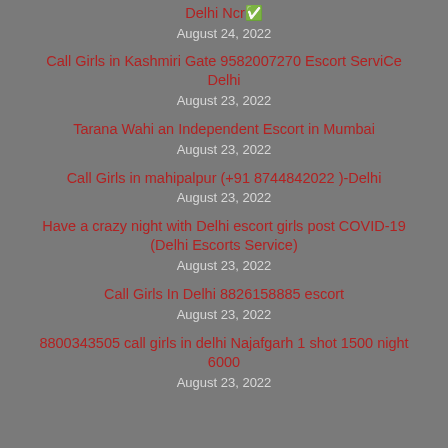Delhi Ncr ✅
August 24, 2022
Call Girls in Kashmiri Gate 9582007270 Escort ServiCe Delhi
August 23, 2022
Tarana Wahi an Independent Escort in Mumbai
August 23, 2022
Call Girls in mahipalpur (+91 8744842022 )-Delhi
August 23, 2022
Have a crazy night with Delhi escort girls post COVID-19 (Delhi Escorts Service)
August 23, 2022
Call Girls In Delhi 8826158885 escort
August 23, 2022
8800343505 call girls in delhi Najafgarh 1 shot 1500 night 6000
August 23, 2022